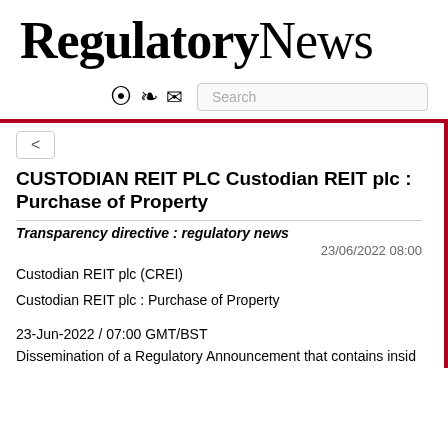RegulatoryNews
[Figure (other): Toolbar with RSS, home, envelope icons and a search box]
CUSTODIAN REIT PLC Custodian REIT plc : Purchase of Property
Transparency directive : regulatory news
23/06/2022 08:00
Custodian REIT plc (CREI)
Custodian REIT plc : Purchase of Property
23-Jun-2022 / 07:00 GMT/BST
Dissemination of a Regulatory Announcement that contains insid